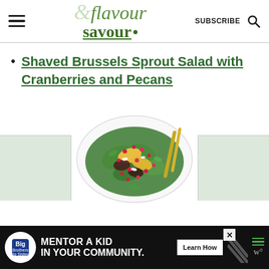flavour & savour
Shaved Brussels Sprout Salad with Cranberries and Pecans
[Figure (photo): A white oval platter with a colorful salad featuring green leaves, pomegranate seeds, golden mango slices, and gold cutlery on the side. Side gray panels partially visible.]
[Figure (infographic): Advertisement bar: Big Brothers Big Sisters logo, MENTOR A KID IN YOUR COMMUNITY text, Learn How button, diagonal stripe graphic, hamburger menu and W icons]